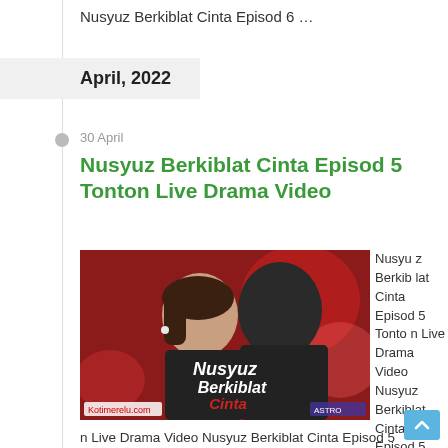Nusyuz Berkiblat Cinta Episod 6 …
April, 2022
30 April
Nusyuz Berkiblat Cinta Episod 5 Tonton Live Drama Video
[Figure (photo): Promotional still from Malaysian drama 'Nusyuz Berkiblat Cinta' showing a man and woman facing each other against a red bokeh background, with the show's title overlaid in stylized text. Watermark 'Kotimerelu.com' visible bottom left.]
Nusyuz Berkiblat Cinta Episod 5 Tonton Live Drama Video Nusyuz Berkiblat Cinta Episod 5 Tonton Live Drama Video Nusyuz Berkiblat Cinta Episod 5 Tonton Live Drama Video  Nusyuz Berkiblat Cinta Episod 5 Watch Full Video Online…  Nusyuz
n Live Drama Video Nusyuz Berkiblat Cinta Episod 5 Tonton Live Drama Video Nusyuz Berkiblat Cinta Episod 5 Tonton Live Drama Video Nusyuz Berkiblat Cinta Episod 5 Tonton Live Drama Video  Nusyuz Berkiblat Cinta Episod 5 Watch Full Video Online…  Nusyuz